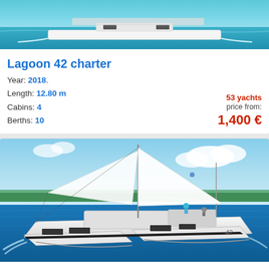[Figure (photo): Lagoon 42 charter catamaran sailing on turquoise water, aerial/side view showing white hull and cabin]
Lagoon 42 charter
Year: 2018.
Length: 12.80 m
Cabins: 4
Berths: 10
53 yachts price from: 1,400 €
[Figure (photo): Lagoon 42 catamaran sailing on blue water with full sails up, people on deck, tropical coastline in background]
Lagoon 42
Year: 2018